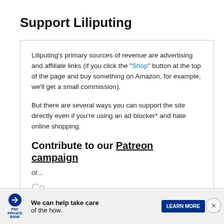Support Liliputing
Liliputing's primary sources of revenue are advertising and affiliate links (if you click the "Shop" button at the top of the page and buy something on Amazon, for example, we'll get a small commission).
But there are several ways you can support the site directly even if you're using an ad blocker* and hate online shopping.
Contribute to our Patreon campaign
or...
[Figure (infographic): Advertisement banner for PNC Private Bank with text 'We can help take care of the how.' and a Learn More button, plus close and play/pause icons.]